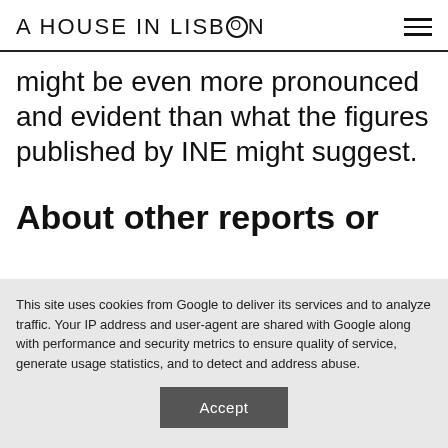A HOUSE IN LISBON
might be even more pronounced and evident than what the figures published by INE might suggest.
About other reports or
This site uses cookies from Google to deliver its services and to analyze traffic. Your IP address and user-agent are shared with Google along with performance and security metrics to ensure quality of service, generate usage statistics, and to detect and address abuse.
Accept